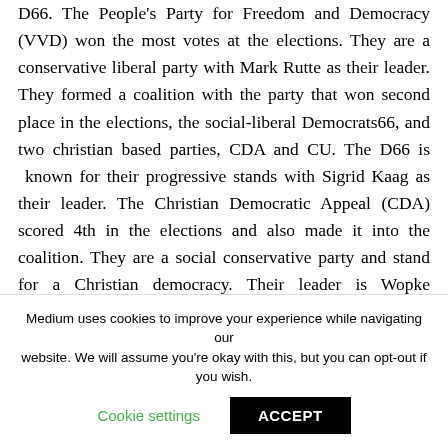D66. The People's Party for Freedom and Democracy (VVD) won the most votes at the elections. They are a conservative liberal party with Mark Rutte as their leader. They formed a coalition with the party that won second place in the elections, the social-liberal Democrats66, and two christian based parties, CDA and CU. The D66 is known for their progressive stands with Sigrid Kaag as their leader. The Christian Democratic Appeal (CDA) scored 4th in the elections and also made it into the coalition. They are a social conservative party and stand for a Christian democracy. Their leader is Wopke Hoekstra. The final party that makes the coalition complete is a small party, the Christian Union
Medium uses cookies to improve your experience while navigating our website. We will assume you're okay with this, but you can opt-out if you wish.